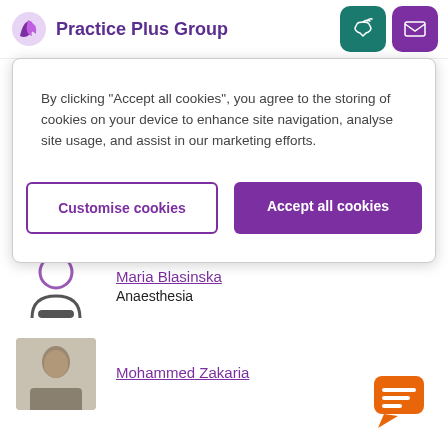[Figure (logo): Practice Plus Group logo with purple swirl icon and bold purple text]
By clicking “Accept all cookies”, you agree to the storing of cookies on your device to enhance site navigation, analyse site usage, and assist in our marketing efforts.
Customise cookies
Accept all cookies
General Surgery
Jonathan Miller
Anaesthesia
Maria Blasinska
Anaesthesia
Mohammed Zakaria